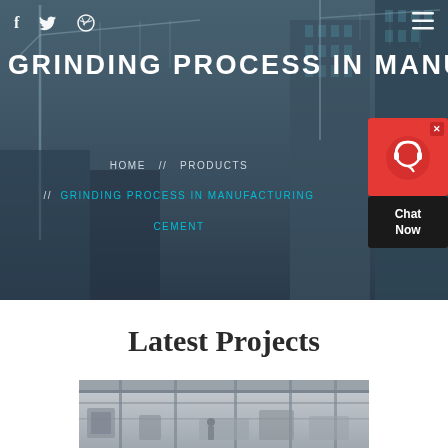f  🐦  ⊕   ≡
GRINDING PROCESS IN MANUFACTURING CEMENT
HOME // PRODUCTS // GRINDING PROCESS IN MANUFACTURING CEMENT
[Figure (screenshot): Chat Now widget — red background with headset icon and dark panel]
Latest Projects
[Figure (photo): Industrial/construction facility interior with machinery, partial view at bottom of page]